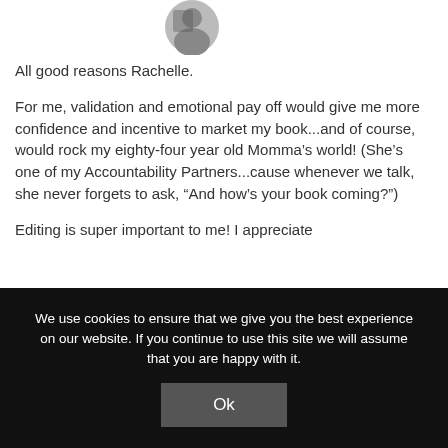[Figure (photo): Small circular avatar photo of a person at top center of the comment area]
All good reasons Rachelle.
For me, validation and emotional pay off would give me more confidence and incentive to market my book...and of course, would rock my eighty-four year old Momma’s world! (She’s one of my Accountability Partners...cause whenever we talk, she never forgets to ask, “And how’s your book coming?”)
Editing is super important to me! I appreciate
We use cookies to ensure that we give you the best experience on our website. If you continue to use this site we will assume that you are happy with it.